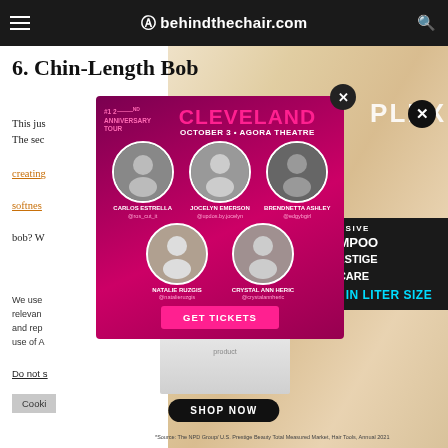behindthechair.com
6. Chin-Length Bob
This just... The sec...
creating... softness... bob? W...
[Figure (infographic): Popup advertisement for a hair event in Cleveland, October 3, Agora Theatre. Features 5 artist circular photos: Carlos Estrella (@ros_cut_it), Jocelyn Emerson (@updos.by.jocelyn), Brendnetta Ashley (@edgybgirl), Natalie Ruzgis (@natalieruzgis), Crystal Ann Heric (@crystalannheric). Pink/magenta background. GET TICKETS button.]
We use... relevant... and rep... use of A...
Do not s...
Cooki...
[Figure (infographic): Right side advertisement: EXCLUSIVE SHAMPOO N PRESTIGE HAIRCARE NOW IN LITER SIZE]
SHOP NOW
*Source: The NPD Group/ U.S. Prestige Beauty Total Measured Market, Hair Tools, Annual 2021